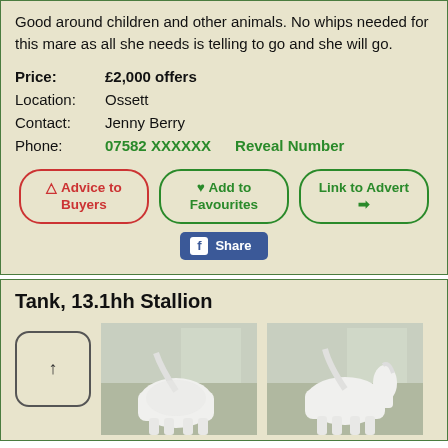Good around children and other animals. No whips needed for this mare as all she needs is telling to go and she will go.
Price: £2,000 offers
Location: Ossett
Contact: Jenny Berry
Phone: 07582 XXXXXX   Reveal Number
[Figure (screenshot): Three buttons: Advice to Buyers (red border), Add to Favourites (green border with heart), Link to Advert (green border with arrow)]
[Figure (screenshot): Facebook Share button]
Tank, 13.1hh Stallion
[Figure (photo): Navigation up arrow button on left, two photos of a white horse (stallion) standing outdoors]